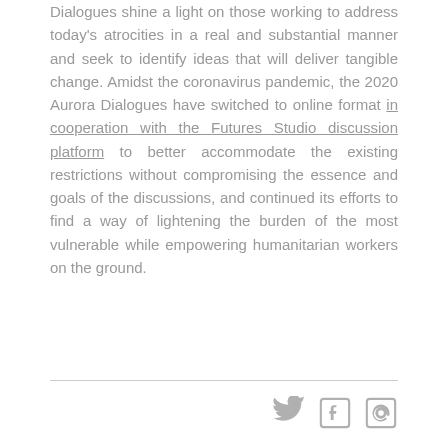Dialogues shine a light on those working to address today's atrocities in a real and substantial manner and seek to identify ideas that will deliver tangible change. Amidst the coronavirus pandemic, the 2020 Aurora Dialogues have switched to online format in cooperation with the Futures Studio discussion platform to better accommodate the existing restrictions without compromising the essence and goals of the discussions, and continued its efforts to find a way of lightening the burden of the most vulnerable while empowering humanitarian workers on the ground.
[Figure (other): Three social media icons: Twitter bird, Facebook f, and email/at symbol, displayed in gray]